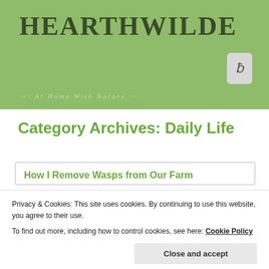HEARTHWILDE
·~· At Home With Nature ·~·
Category Archives: Daily Life
How I Remove Wasps from Our Farm
Privacy & Cookies: This site uses cookies. By continuing to use this website, you agree to their use.
To find out more, including how to control cookies, see here: Cookie Policy
Close and accept